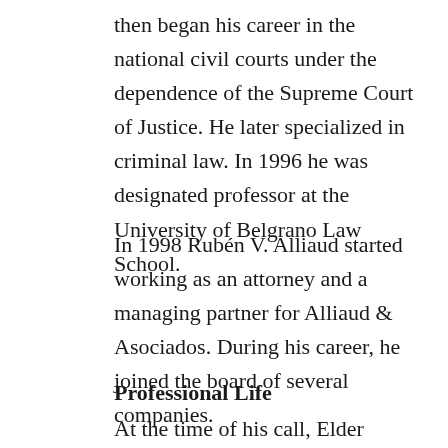then began his career in the national civil courts under the dependence of the Supreme Court of Justice. He later specialized in criminal law. In 1996 he was designated professor at the University of Belgrano Law School.
In 1998 Rubén V. Alliaud started working as an attorney and a managing partner for Alliaud & Asociados. During his career, he joined the board of several companies.
Professional Life
At the time of his call, Elder Rubén V. Alliaud had been serving as an institute